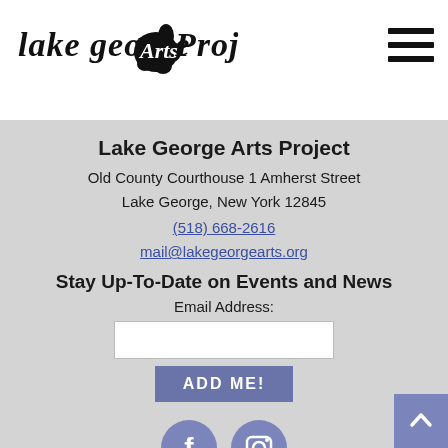Lake George Arts Project
Lake George Arts Project
Old County Courthouse 1 Amherst Street
Lake George, New York 12845
(518) 668-2616
mail@lakegeorgearts.org
Stay Up-To-Date on Events and News
Email Address:
[Figure (other): Email input text field (white rectangle)]
[Figure (other): ADD ME! button (dark blue-purple rectangle with white bold text)]
[Figure (other): Facebook and Instagram social media icon circles (blue-purple)]
[Figure (other): Back to top button (blue-purple square with white chevron/caret)]